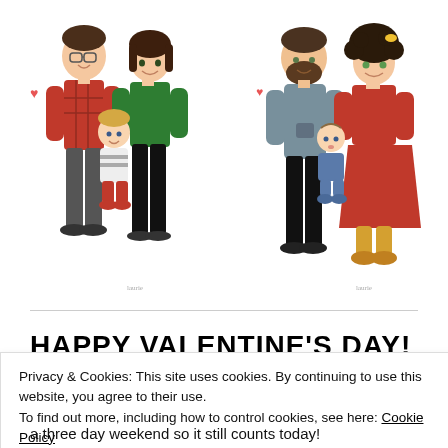[Figure (illustration): Two illustrated cartoon family portraits side by side. Left: a family of three with a man in glasses and plaid shirt, a woman in green top with black pants, and a toddler in striped shirt with red pants, surrounded by small red hearts. Right: a family of three with a bearded man, a woman with curly hair and a red skirt, and a baby, also with small red hearts.]
HAPPY VALENTINE'S DAY!
Privacy & Cookies: This site uses cookies. By continuing to use this website, you agree to their use.
To find out more, including how to control cookies, see here: Cookie Policy
a three day weekend so it still counts today!